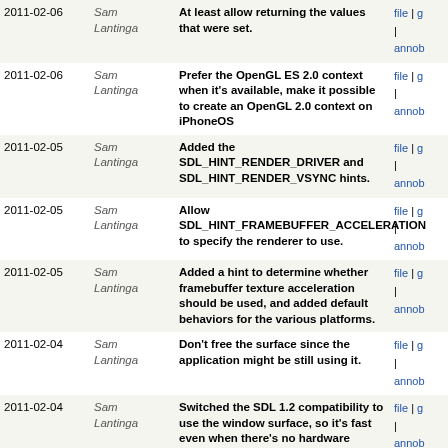| Date | Author | Message | Links |
| --- | --- | --- | --- |
| 2011-02-06 | Sam Lantinga | At least allow returning the values that were set. | file | g | annob |
| 2011-02-06 | Sam Lantinga | Prefer the OpenGL ES 2.0 context when it's available, make it possible to create an OpenGL 2.0 context on iPhoneOS | file | g | annob |
| 2011-02-05 | Sam Lantinga | Added the SDL_HINT_RENDER_DRIVER and SDL_HINT_RENDER_VSYNC hints. | file | g | annob |
| 2011-02-05 | Sam Lantinga | Allow SDL_HINT_FRAMEBUFFER_ACCELERATION to specify the renderer to use. | file | g | annob |
| 2011-02-05 | Sam Lantinga | Added a hint to determine whether framebuffer texture acceleration should be used, and added default behaviors for the various platforms. | file | g | annob |
| 2011-02-04 | Sam Lantinga | Don't free the surface since the application might be still using it. | file | g | annob |
| 2011-02-04 | Sam Lantinga | Switched the SDL 1.2 compatibility to use the window surface, so it's fast even when there's no hardware acceleration available. | file | g | annob |
| 2011-02-04 | Sam Lantinga | Fixed recursion crash when setting SDL_VIDEO_RENDERER=software | file | g | annob |
| 2011-02-03 | Sam Lantinga | Added a way to get a framebuffer interface for a window, and also a way to create a software renderer for an arbitrary surface. | file | g | annob |
| 2011-02-03 | Sam Lantinga | Extended SDL_SetWindowData() to allow arbitrary named values. | file | g | annob |